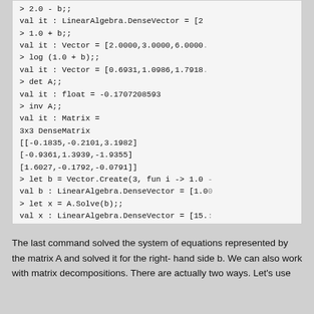> 2.0 - b;;
val it : LinearAlgebra.DenseVector = [2
> 1.0 + b;;
val it : Vector = [2.0000,3.0000,6.0000...
> log (1.0 + b);;
val it : Vector = [0.6931,1.0986,1.7918...
> det A;;
val it : float = -0.1707208593
> inv A;;
val it : Matrix =
3x3 DenseMatrix
[[-0.1835,-0.2101,3.1982]
[-0.9361,1.3939,-1.9355]
[1.6027,-0.1792,-0.0791]]
> let b = Vector.Create(3, fun i -> 1.0 -
val b : LinearAlgebra.DenseVector = [1.00
> let x = A.Solve(b);;
val x : LinearAlgebra.DenseVector = [15.:
The last command solved the system of equations represented by the matrix A and solved it for the right-hand side b. We can also work with matrix decompositions. There are actually two ways. Let's use